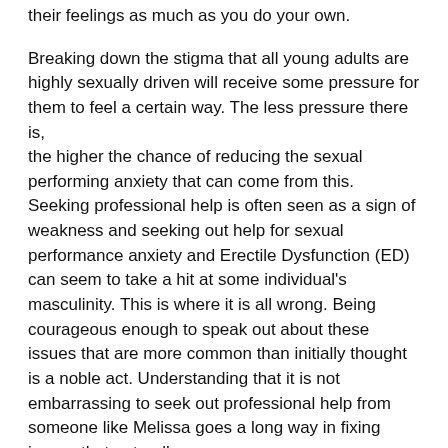their feelings as much as you do your own.
Breaking down the stigma that all young adults are highly sexually driven will receive some pressure for them to feel a certain way. The less pressure there is, the higher the chance of reducing the sexual performing anxiety that can come from this. Seeking professional help is often seen as a sign of weakness and seeking out help for sexual performance anxiety and Erectile Dysfunction (ED) can seem to take a hit at some individual's masculinity. This is where it is all wrong. Being courageous enough to speak out about these issues that are more common than initially thought is a noble act. Understanding that it is not embarrassing to seek out professional help from someone like Melissa goes a long way in fixing issues that naturally occur.
I think that making conversations more public like the ones I had with Melissa can be used as a tool to allow young males to not attach their masculinity to their own sexuality. This will allow them to understand that their masculinity is